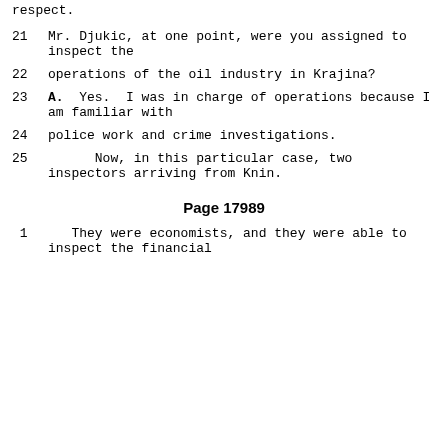respect.
21      Mr. Djukic, at one point, were you assigned to inspect the
22      operations of the oil industry in Krajina?
23      A.  Yes.  I was in charge of operations because I am familiar with
24      police work and crime investigations.
25            Now, in this particular case, two inspectors arriving from Knin.
Page 17989
1       They were economists, and they were able to inspect the financial